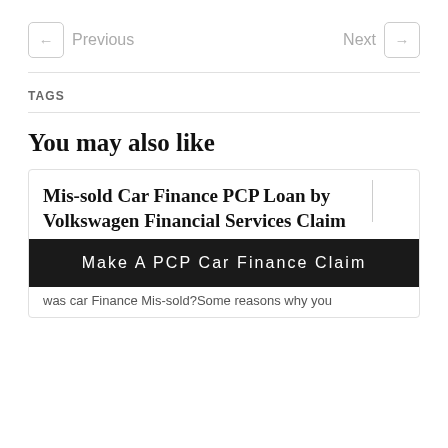← Previous   Next →
TAGS
You may also like
Mis-sold Car Finance PCP Loan by Volkswagen Financial Services Claim
Make A PCP Car Finance Claim
was car Finance Mis-sold?Some reasons why you